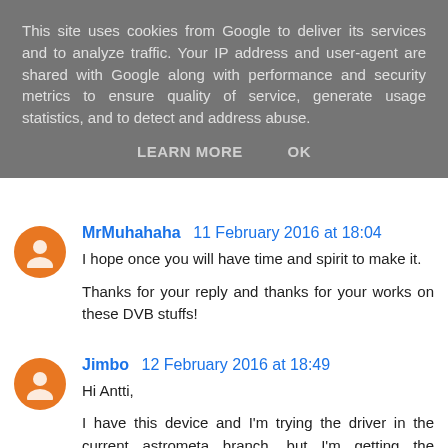This site uses cookies from Google to deliver its services and to analyze traffic. Your IP address and user-agent are shared with Google along with performance and security metrics to ensure quality of service, generate usage statistics, and to detect and address abuse.
LEARN MORE    OK
MrMuhahaha 11 February 2016 at 18:04
I hope once you will have time and spirit to make it.

Thanks for your reply and thanks for your works on these DVB stuffs!
Jimbo 12 February 2016 at 18:49
Hi Antti,

I have this device and I'm trying the driver in the current astrometa branch, but I'm getting the following null pointer dereference while starting...